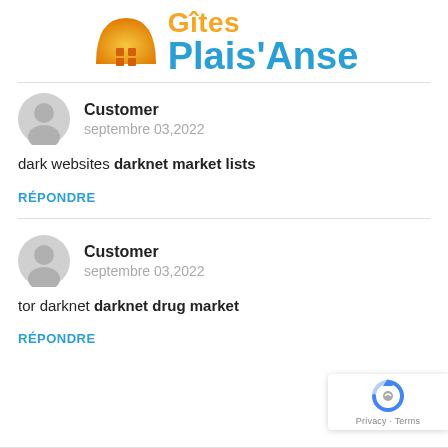[Figure (logo): Gîtes Plais'Anse logo with orange house/arch icon and two-tone text: 'Gîtes' in orange and 'Plais'Anse' in blue]
Customer
septembre 03,2022

dark websites darknet market lists
RÉPONDRE
Customer
septembre 03,2022

tor darknet darknet drug market
RÉPONDRE
[Figure (other): reCAPTCHA badge with logo and 'Privacy - Terms' text]